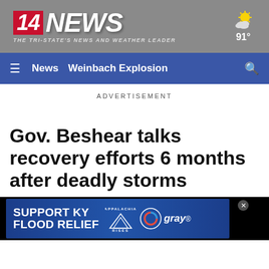14 NEWS — THE TRI-STATE'S NEWS AND WEATHER LEADER | 91°
News  Weinbach Explosion
ADVERTISEMENT
Gov. Beshear talks recovery efforts 6 months after deadly storms
[Figure (illustration): Support KY Flood Relief advertisement banner featuring Appalachia Rises and gray logos]